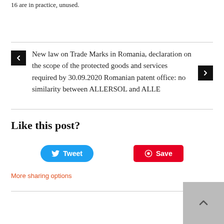16 are in practice, unused.
New law on Trade Marks in Romania, declaration on the scope of the protected goods and services required by 30.09.2020 Romanian patent office: no similarity between ALLERSOL and ALLE
Like this post?
Tweet
Save
More sharing options